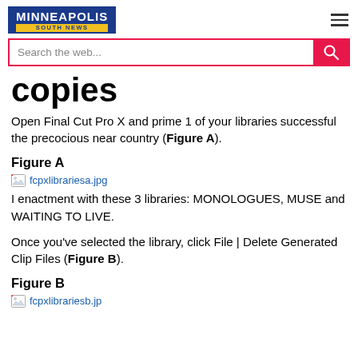MINNEAPOLIS SOUTH NEWS
copies
Open Final Cut Pro X and prime 1 of your libraries successful the precocious near country (Figure A).
Figure A
[Figure (photo): Broken image placeholder: fcpxlibrariesa.jpg]
I enactment with these 3 libraries: MONOLOGUES, MUSE and WAITING TO LIVE.
Once you've selected the library, click File | Delete Generated Clip Files (Figure B).
Figure B
[Figure (photo): Broken image placeholder: fcpxlibrariesb.jpg (partially visible)]